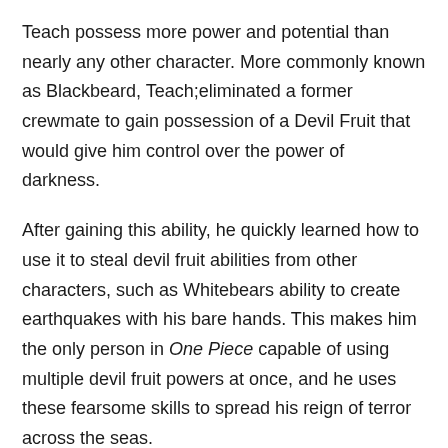Teach possess more power and potential than nearly any other character. More commonly known as Blackbeard, Teach;eliminated a former crewmate to gain possession of a Devil Fruit that would give him control over the power of darkness.
After gaining this ability, he quickly learned how to use it to steal devil fruit abilities from other characters, such as Whitebears ability to create earthquakes with his bare hands. This makes him the only person in One Piece capable of using multiple devil fruit powers at once, and he uses these fearsome skills to spread his reign of terror across the seas.
Don't Miss:
How Many Seasons Does Food Wars Have Anime
One Piece: Pirate Warriors 2